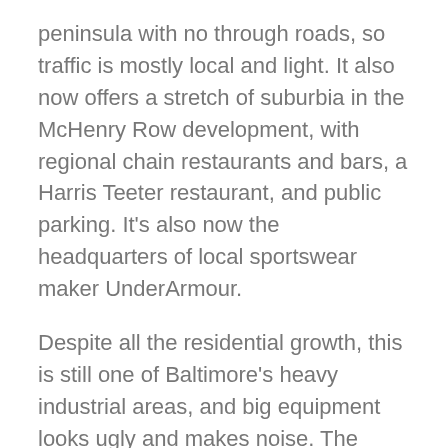peninsula with no through roads, so traffic is mostly local and light. It also now offers a stretch of suburbia in the McHenry Row development, with regional chain restaurants and bars, a Harris Teeter restaurant, and public parking. It's also now the headquarters of local sportswear maker UnderArmour.
Despite all the residential growth, this is still one of Baltimore's heavy industrial areas, and big equipment looks ugly and makes noise. The entire neighborhood is encircled by a CSX freight railroad; extremely long trains use it to turn around. Huge concrete and gravel parking lots for daily workers sit along the neighborhood's waterfront and parkside .
This area is a great choice for commuters south of Baltimore (Annapolis, BWI, Columbia, Ft. Meade, etc.) The onramps to the I-295S and I-95S highways are a